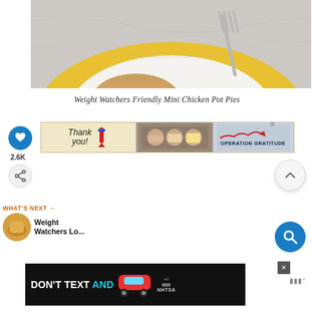[Figure (photo): Close-up photo of a food item (mini chicken pot pie) on a yellow plate with blue rim, with a fork visible, on a marble surface]
Weight Watchers Friendly Mini Chicken Pot Pies
[Figure (photo): Operation Gratitude advertisement banner with 'Thank you' handwritten text, pencil graphic, photo of three masked healthcare workers, and Operation Gratitude logo]
2.6K
[Figure (photo): WHAT'S NEXT promotional block showing Weight Watchers Lo... with thumbnail image]
[Figure (photo): DON'T TEXT AND (drive) advertisement banner with car graphic and NHTSA logo]